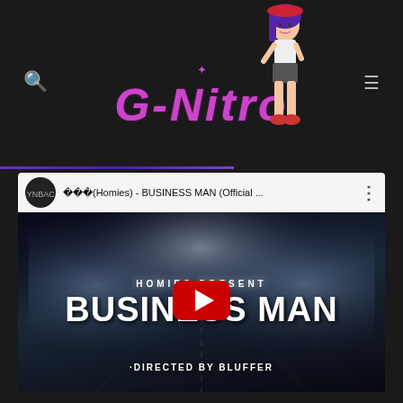[Figure (logo): G-Nitro website header with purple italic logo text, anime girl character on the right, search icon on the left, hamburger menu on the right]
[Figure (screenshot): YouTube video embed showing 홈즈(Homies) - BUSINESS MAN (Official ...) with HOMIES PRESENT BUSINESS MAN DIRECTED BY BLUFFER thumbnail and YouTube play button]